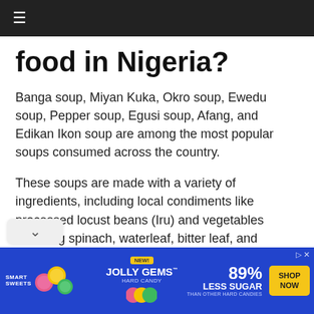≡
food in Nigeria?
Banga soup, Miyan Kuka, Okro soup, Ewedu soup, Pepper soup, Egusi soup, Afang, and Edikan Ikon soup are among the most popular soups consumed across the country.
These soups are made with a variety of ingredients, including local condiments like processed locust beans (Iru) and vegetables including spinach, waterleaf, bitter leaf, and pumpkin leaves.
Fufu, Eba, amala, starch, pounded yam, and other llow starchy foods are commonly served with
[Figure (screenshot): Smart Sweets advertisement banner featuring Jolly Gems hard candy with '89% Less Sugar' claim and 'Shop Now' button on blue background]